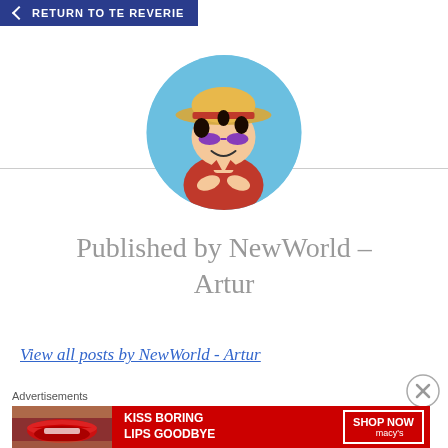RETURN TO TE REVERIE
[Figure (illustration): Circular avatar showing anime character (Monkey D. Luffy from One Piece) wearing a straw hat and red outfit, with purple-tinted eyes, against a blue sky background.]
Published by NewWorld – Artur
View all posts by NewWorld - Artur
Advertisements
[Figure (photo): Macy's advertisement banner: 'KISS BORING LIPS GOODBYE' with a close-up of lips, and a 'SHOP NOW' button with Macy's star logo on dark red background.]